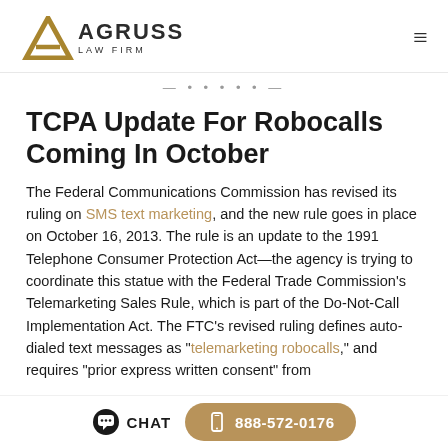AGRUSS LAW FIRM
— • • • • • —
TCPA Update For Robocalls Coming In October
The Federal Communications Commission has revised its ruling on SMS text marketing, and the new rule goes in place on October 16, 2013. The rule is an update to the 1991 Telephone Consumer Protection Act—the agency is trying to coordinate this statue with the Federal Trade Commission's Telemarketing Sales Rule, which is part of the Do-Not-Call Implementation Act. The FTC's revised ruling defines auto-dialed text messages as "telemarketing robocalls," and requires "prior express written consent" from
CHAT  888-572-0176